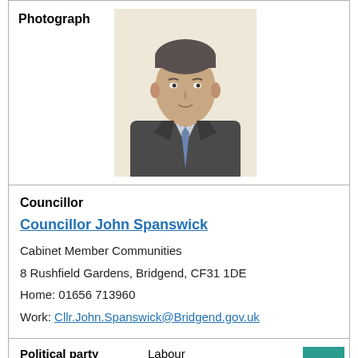[Figure (photo): Portrait photo of Councillor John Spanswick, a middle-aged man in a grey suit and blue tie, light background]
Photograph
Councillor
Councillor John Spanswick
Cabinet Member Communities
8 Rushfield Gardens, Bridgend, CF31 1DE
Home: 01656 713960
Work: Cllr.John.Spanswick@Bridgend.gov.uk
Political party (Labour)    Labour
Ward    Brackla West Central
[Figure (photo): Partial portrait photo of another councillor, showing top of head, light background]